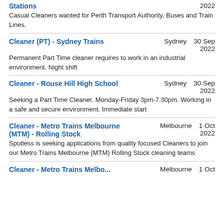Stations | 2022 | Casual Cleaners wanted for Perth Transport Authority, Buses and Train Lines.
Cleaner (PT) - Sydney Trains | Sydney | 30 Sep 2022 | Permanent Part Time cleaner requires to work in an industrial environment. Night shift
Cleaner - Rouse Hill High School | Sydney | 30 Sep 2022 | Seeking a Part Time Cleaner. Monday-Friday 3pm-7.30pm. Working in a safe and secure environment. Immediate start
Cleaner - Metro Trains Melbourne (MTM) - Rolling Stock | Melbourne | 1 Oct 2022 | Spotless is seeking applications from quality focused Cleaners to join our Metro Trains Melbourne (MTM) Rolling Stock cleaning teams
Cleaner - Metro Trains Melbo... | Melbourne | 1 Oct...